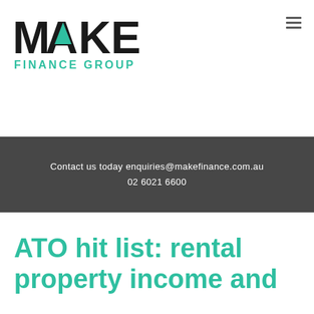[Figure (logo): Make Finance Group logo — bold black MAKE text with a teal triangle for the A, and teal 'FINANCE GROUP' text below]
Contact us today enquiries@makefinance.com.au
02 6021 6600
ATO hit list: rental property income and